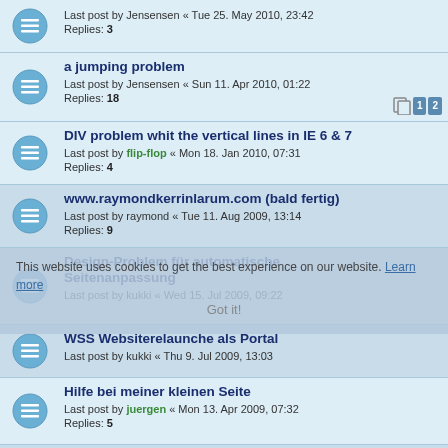Last post by Jensensen « Tue 25. May 2010, 23:42
Replies: 3
a jumping problem
Last post by Jensensen « Sun 11. Apr 2010, 01:22
Replies: 18
DIV problem whit the vertical lines in IE 6 & 7
Last post by flip-flop « Mon 18. Jan 2010, 07:31
Replies: 4
www.raymondkerrinlarum.com (bald fertig)
Last post by raymond « Tue 11. Aug 2009, 13:14
Replies: 9
Design-Problem für automatische Seitenanpassung
Last post by kukki « Wed 15. Jul 2009, 09:22
WSS Websiterelaunche als Portal
Last post by kukki « Thu 9. Jul 2009, 13:03
Hilfe bei meiner kleinen Seite
Last post by juergen « Mon 13. Apr 2009, 07:32
Replies: 5
Darstellung in Explorer und Firefox
Last post by GermanDevil « Sat 28. Mar 2009, 11:56
Replies: 2